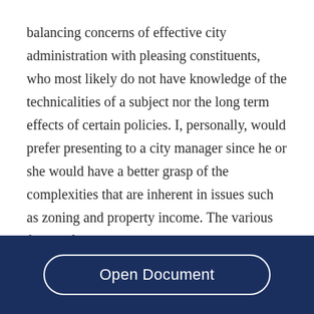balancing concerns of effective city administration with pleasing constituents, who most likely do not have knowledge of the technicalities of a subject nor the long term effects of certain policies. I, personally, would prefer presenting to a city manager since he or she would have a better grasp of the complexities that are inherent in issues such as zoning and property income. The various forms of city government each have their benefits and detractions. While a council-manager form may be
Open Document